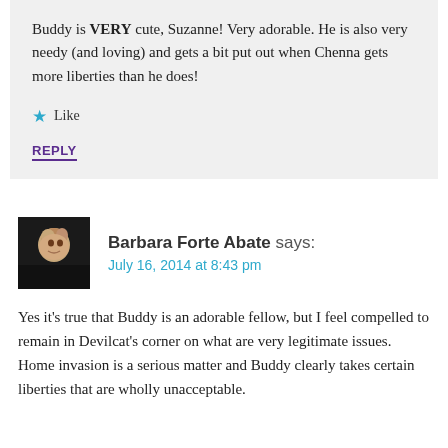Buddy is VERY cute, Suzanne! Very adorable. He is also very needy (and loving) and gets a bit put out when Chenna gets more liberties than he does!
★ Like
REPLY
Barbara Forte Abate says:
July 16, 2014 at 8:43 pm
Yes it's true that Buddy is an adorable fellow, but I feel compelled to remain in Devilcat's corner on what are very legitimate issues. Home invasion is a serious matter and Buddy clearly takes certain liberties that are wholly unacceptable.